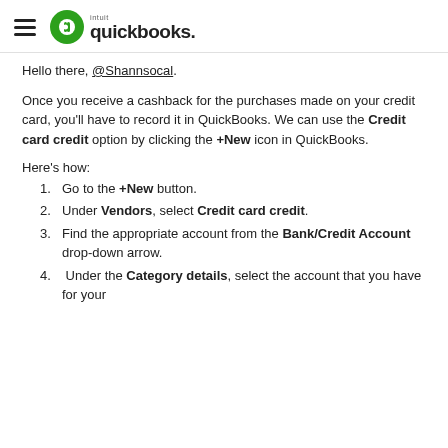QuickBooks (Intuit logo)
Hello there, @Shannsocal.
Once you receive a cashback for the purchases made on your credit card, you'll have to record it in QuickBooks. We can use the Credit card credit option by clicking the +New icon in QuickBooks.
Here's how:
1. Go to the +New button.
2. Under Vendors, select Credit card credit.
3. Find the appropriate account from the Bank/Credit Account drop-down arrow.
4. Under the Category details, select the account that you have for your